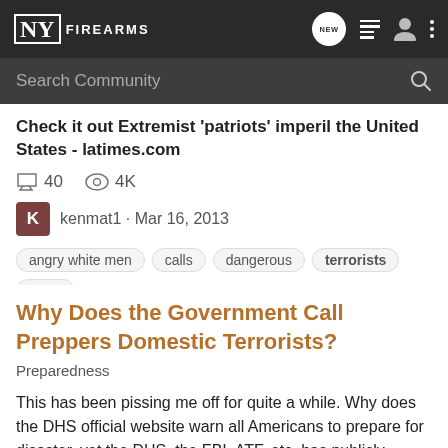NY FIREARMS — navigation bar with logo, NEW button, list icon, user icon, and more icon
Search Community
Check it out Extremist 'patriots' imperil the United States - latimes.com
40 comments · 4K views
kenmat1 · Mar 16, 2013
angry white men
calls
dangerous
terrorists
times
Why Does the Government Call Preppers Domestic Terrorists?
Preparedness
This has been pissing me off for quite a while. Why does the DHS official website warn all Americans to prepare for disaster, yet the DHS, the FBI, ATF, etc. has publicly stated or stated in inter-office memorandums that Americans who